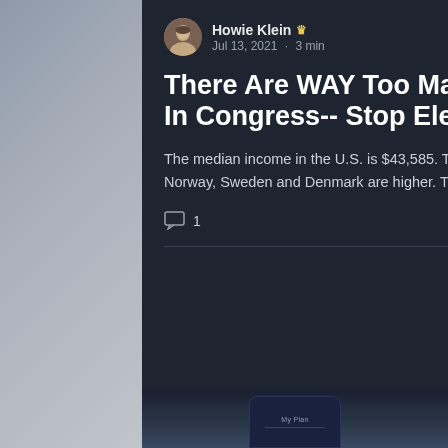Howie Klein · Jul 13, 2021 · 3 min
There Are WAY Too Many Multimillionaires In Congress-- Stop Electing Them
The median income in the U.S. is $43,585. The median incomes in socialist countries Norway, Sweden and Denmark are higher. The only other...
1